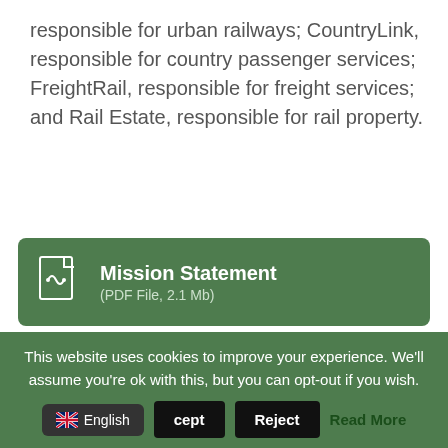responsible for urban railways; CountryLink, responsible for country passenger services; FreightRail, responsible for freight services; and Rail Estate, responsible for rail property.
[Figure (other): Green card button: PDF icon with text 'Mission Statement (PDF File, 2.1 Mb)']
[Figure (other): Green card button: Word icon with text 'Technical Specification']
This website uses cookies to improve your experience. We'll assume you're ok with this, but you can opt-out if you wish.
English | Accept | Reject | Read More